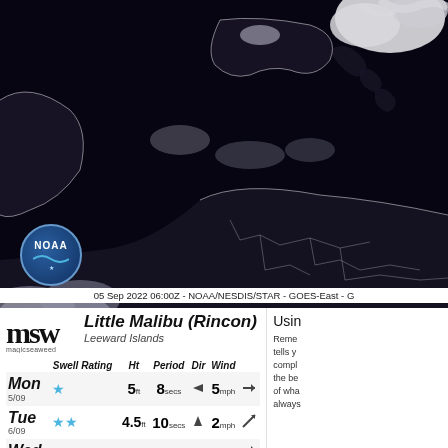[Figure (map): NOAA GOES-East satellite image of Caribbean region showing cloud cover, dated 05 Sep 2022 06:00Z, with NOAA/NESDIS/STAR logo badge in lower left]
05 Sep 2022 06:00Z - NOAA/NESDIS/STAR - GOES-East - G
[Figure (logo): Magic Seaweed (magicseaweed) logo in bold serif font]
Little Malibu (Rincon)
Leeward Islands
|  | Swell Rating | Ht | Period | Dir | Wind |  |
| --- | --- | --- | --- | --- | --- | --- |
| Mon 5/09 | ★ | 5ft | 8secs | ▶ | 5mph | → |
| Tue 6/09 | ★★ | 4.5ft | 10secs | ▼ | 2mph | ↗ |
| Wed |  |  |  |  |  | → |
Usin
Reme tells y compl the be of wha always